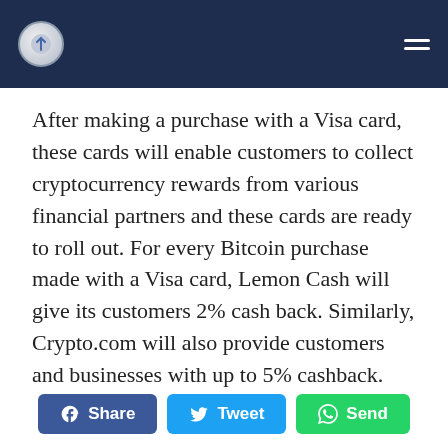[Navigation header with logo and menu icon]
After making a purchase with a Visa card, these cards will enable customers to collect cryptocurrency rewards from various financial partners and these cards are ready to roll out. For every Bitcoin purchase made with a Visa card, Lemon Cash will give its customers 2% cash back. Similarly, Crypto.com will also provide customers and businesses with up to 5% cashback.
[Figure (infographic): Social sharing buttons: Share (Facebook), Tweet (Twitter), Send (WhatsApp)]